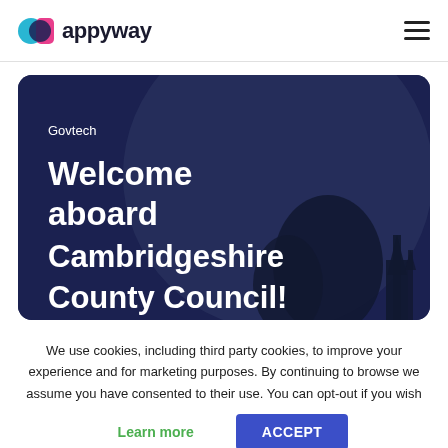appyway
[Figure (illustration): Dark navy blue card with a large circular grey shape in the background and a silhouette of trees and a cathedral/church spire on the right. White text reads 'Govtech' in small font above large heading 'Welcome aboard Cambridgeshire County Council!']
We use cookies, including third party cookies, to improve your experience and for marketing purposes. By continuing to browse we assume you have consented to their use. You can opt-out if you wish
Learn more   ACCEPT